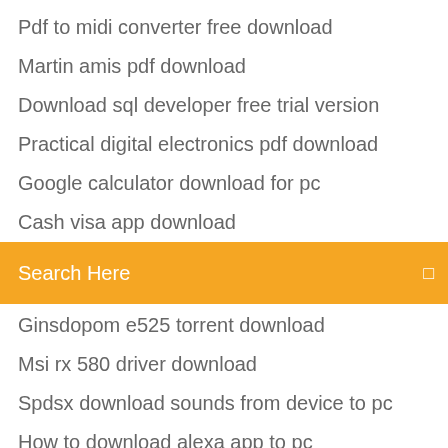Pdf to midi converter free download
Martin amis pdf download
Download sql developer free trial version
Practical digital electronics pdf download
Google calculator download for pc
Cash visa app download
[Figure (screenshot): Orange search bar with text 'Search Here' and a search icon on the right]
Ginsdopom e525 torrent download
Msi rx 580 driver download
Spdsx download sounds from device to pc
How to download alexa app to pc
Dell e514dw driver download windows 10
Free download my quran for pc windows 7
Must download macbook pro app
Download driver talent free
Download pokemon ruby gba save files
How to download files to your web server
Download final fantasy xiv free full version